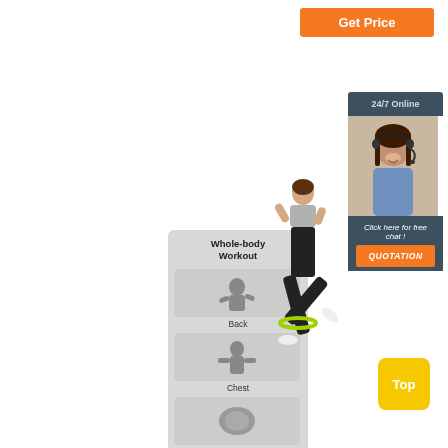Get Price
[Figure (infographic): Whole-body Workout panel showing 5 exercise categories: Back, Chest, Abs, Hips, Leg with fitness photos for each]
[Figure (photo): Woman in kickboxing/exercise pose wearing black leggings with green resistance band]
[Figure (infographic): 24/7 Online customer service panel with photo of woman with headset, 'Click here for free chat!' text, and QUOTATION button]
Top